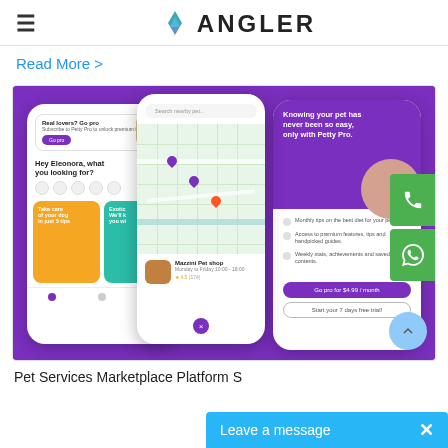≡  ANGLER
Read More >
[Figure (screenshot): Screenshot of a pet services marketplace app (Petty Pro) showing three mobile phone mockups on a purple background. Left phone shows a home screen with promotions and navigation. Center phone shows a map view with pet shop locations. Right phone shows a subscription/premium features screen with a dog photo and pricing buttons.]
Pet Services Marketplace Platform S
Leave a message  ×